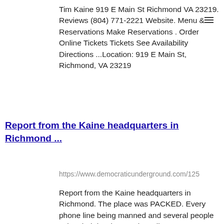Tim Kaine 919 E Main St Richmond VA 23219. Reviews (804) 771-2221 Website. Menu & Reservations Make Reservations . Order Online Tickets Tickets See Availability Directions ...Location: 919 E Main St, Richmond, VA 23219
Report from the Kaine headquarters in Richmond ...
https://www.democraticunderground.com/125
Report from the Kaine headquarters in Richmond. The place was PACKED. Every phone line being manned and several people using their iPads to make calls. ... Great! I hear in VA and NC Dems are practically